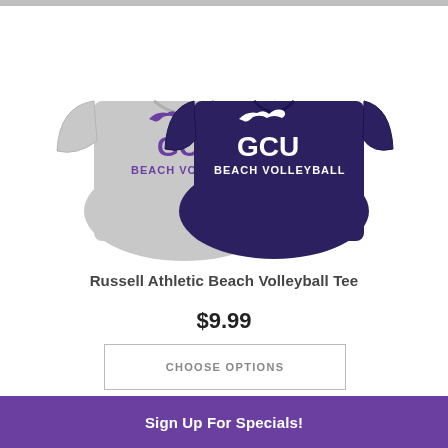[Figure (photo): Two GCU Beach Volleyball t-shirts side by side — one grey and one purple/navy — both printed with 'GCU BEACH VOLLEYBALL' and a GCU antelope logo]
Russell Athletic Beach Volleyball Tee
$9.99
CHOOSE OPTIONS
Sign Up For Specials!